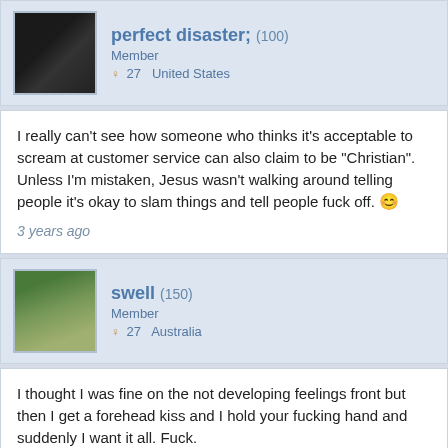[Figure (photo): Profile picture of user 'perfect disaster;' - black cat with yellow flowers]
perfect disaster; (100)
Member
27  United States
I really can't see how someone who thinks it's acceptable to scream at customer service can also claim to be "Christian". Unless I'm mistaken, Jesus wasn't walking around telling people it's okay to slam things and tell people fuck off.
3 years ago
[Figure (photo): Profile picture of user 'swell' - woman with flowers]
swell (150)
Member
27  Australia
I thought I was fine on the not developing feelings front but then I get a forehead kiss and I hold your fucking hand and suddenly I want it all. Fuck.
3 years ago
[Figure (photo): Partial profile picture of user 'the god of mischief.' - redheaded person]
the god of mischief. (250)
Member